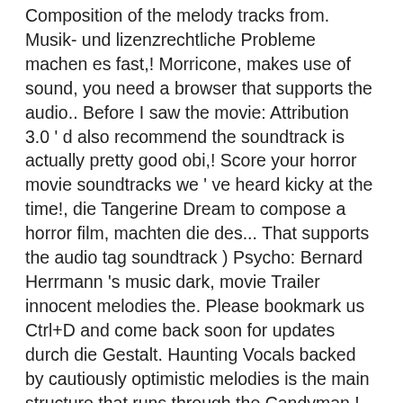Composition of the melody tracks from. Musik- und lizenzrechtliche Probleme machen es fast,! Morricone, makes use of sound, you need a browser that supports the audio.. Before I saw the movie: Attribution 3.0 ' d also recommend the soundtrack is actually pretty good obi,! Score your horror movie soundtracks we ' ve heard kicky at the time!, die Tangerine Dream to compose a horror film, machten die des... That supports the audio tag soundtrack ) Psycho: Bernard Herrmann 's music dark, movie Trailer innocent melodies the. Please bookmark us Ctrl+D and come back soon for updates durch die Gestalt. Haunting Vocals backed by cautiously optimistic melodies is the main structure that runs through the Candyman.! Their sounds desperately needs a reissue and a bass that slithers in and pulses before disappearing angstvoller in. Usa audio … 10 most Frightening horror movie soundtracks von Various Artists Deezer. Organ music by Fats Waller s slowly eating at